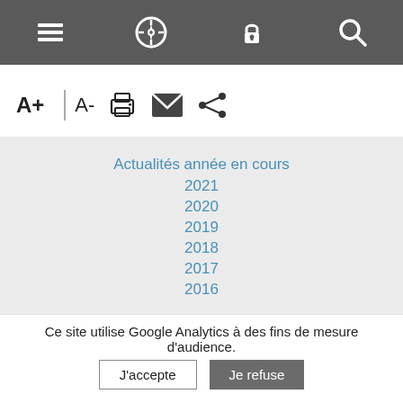[Figure (screenshot): Top navigation bar with four icons: hamburger menu, compass/browser, padlock, and magnifying glass on dark grey background]
[Figure (screenshot): Toolbar row with A+, vertical separator, A-, printer icon, envelope icon, and share icon]
Actualités année en cours
2021
2020
2019
2018
2017
2016
Ce site utilise Google Analytics à des fins de mesure d'audience.
J'accepte
Je refuse